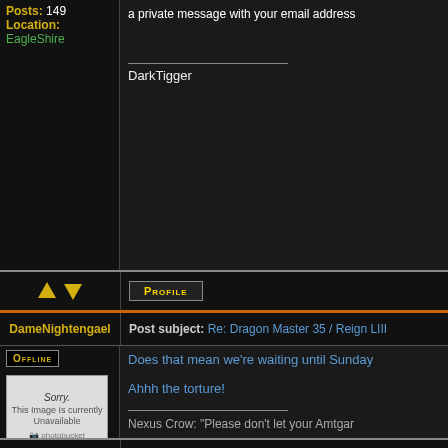Posts: 149
Location: EagleShire
a private message with your email address
DarkTigger
[Figure (other): Up and down arrow navigation buttons (gold)]
Profile button
DameNightengael
Post subject: Re: Dragon Master 35 / Reign LIII
Offline button
[Figure (photo): Photobucket placeholder image showing Sorry. This Image Is currently Unavailable]
Joined: Wed Nov 22, 2006 5:17 am
Posts: 67
Does that mean we're waiting until Sunday
Ahhh the torture!
Nexus Crow: "Please don't let your Amtgar
Dame Nightengael Bahuas
Nightmare of Artus Pass
Dragonmaster X XX XXX
Sable Pride Stormtrooper 66
[Figure (other): Up and down arrow navigation buttons (gold)]
Profile button
Dark Tigger
Post subject: Re: Dragon Master 35 / Reign LIII